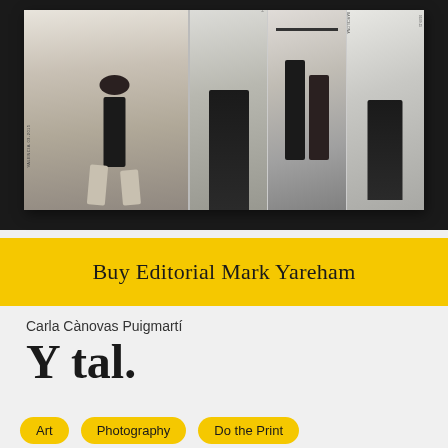[Figure (photo): Open book/magazine spread showing fashion editorial photography with multiple figures in black clothing, displayed against a dark background]
Buy Editorial Mark Yareham
Carla Cànovas Puigmartí
Y tal.
Art
Photography
Do the Print